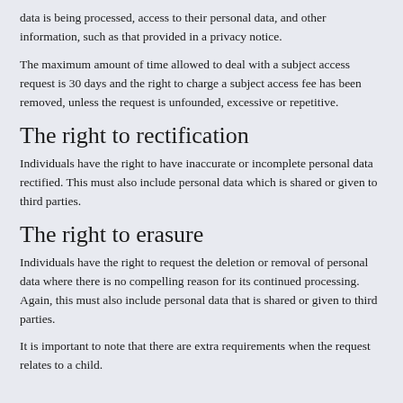data is being processed, access to their personal data, and other information, such as that provided in a privacy notice.
The maximum amount of time allowed to deal with a subject access request is 30 days and the right to charge a subject access fee has been removed, unless the request is unfounded, excessive or repetitive.
The right to rectification
Individuals have the right to have inaccurate or incomplete personal data rectified. This must also include personal data which is shared or given to third parties.
The right to erasure
Individuals have the right to request the deletion or removal of personal data where there is no compelling reason for its continued processing. Again, this must also include personal data that is shared or given to third parties.
It is important to note that there are extra requirements when the request relates to a child.